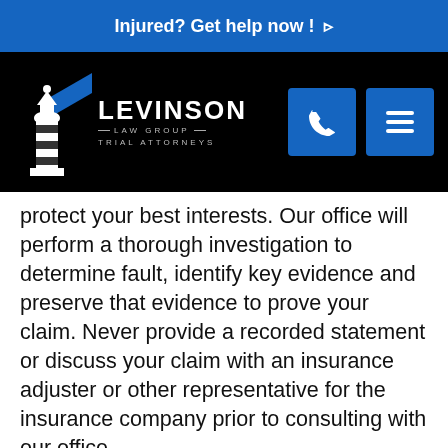Injured? Get help now ! ▷
[Figure (logo): Levinson Law Group Trial Attorneys logo with lighthouse icon and navigation buttons]
protect your best interests. Our office will perform a thorough investigation to determine fault, identify key evidence and preserve that evidence to prove your claim. Never provide a recorded statement or discuss your claim with an insurance adjuster or other representative for the insurance company prior to consulting with our office.
As discussed above, the damages in a